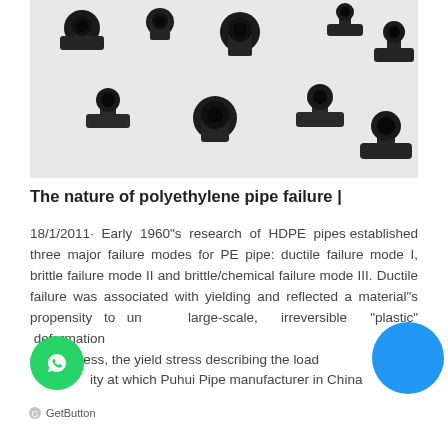[Figure (photo): Black HDPE pipe fittings (tee connectors and couplings) arranged on a white background]
The nature of polyethylene pipe failure |
18/1/2011· Early 1960"s research of HDPE pipes established three major failure modes for PE pipe: ductile failure mode I, brittle failure mode II and brittle/chemical failure mode III. Ductile failure was associated with yielding and reflected a material"s propensity to undergo large-scale, irreversible "plastic" deformation under stress, the yield stress describing the load capacity at which Puhui Pipe manufacturer in China
GetButton